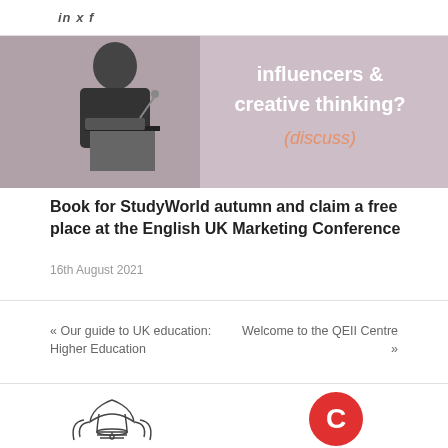in y f
[Figure (photo): Person at podium with laptop, presentation slide reading 'influencers & creative thinking? (discuss)']
Book for StudyWorld autumn and claim a free place at the English UK Marketing Conference
16th August 2021
« Our guide to UK education: Higher Education
Welcome to the QEII Centre »
[Figure (logo): Bell/tulip decorative logo outline]
[Figure (logo): Red C letter logo]